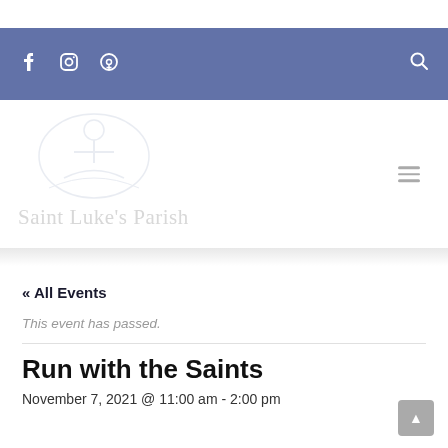Navigation bar with Facebook, Instagram, Podcast icons and search icon
[Figure (logo): Saint Luke's Parish watermark logo with faded church/figure illustration and text 'Saint Luke's Parish' in light gray]
« All Events
This event has passed.
Run with the Saints
November 7, 2021 @ 11:00 am - 2:00 pm